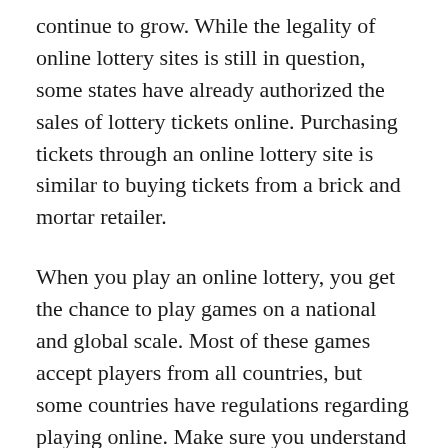continue to grow. While the legality of online lottery sites is still in question, some states have already authorized the sales of lottery tickets online. Purchasing tickets through an online lottery site is similar to buying tickets from a brick and mortar retailer.
When you play an online lottery, you get the chance to play games on a national and global scale. Most of these games accept players from all countries, but some countries have regulations regarding playing online. Make sure you understand your local lottery regulations before playing. This way, you can continue playing your favorite games even if you’ve lost a few games. You will get an email letting you know whether you’ve won! So, what’s the catch?